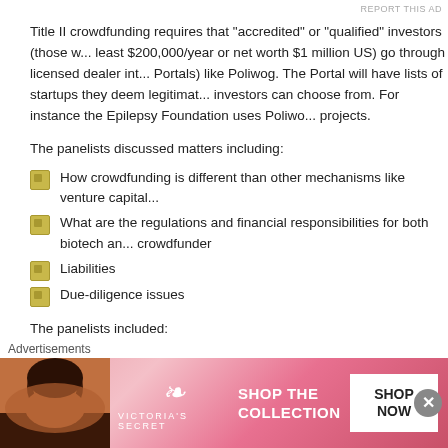Title II crowdfunding requires that “accredited” or “qualified” investors (those w... least $200,000/year or net worth $1 million US) go through licensed dealer int... Portals) like Poliwog. The Portal will have lists of startups they deem legitimat... investors can choose from. For instance the Epilepsy Foundation uses Poliwo... projects.
The panelists discussed matters including:
How crowdfunding is different than other mechanisms like venture capital...
What are the regulations and financial responsibilities for both biotech an... crowdfunder
Liabilities
Due-diligence issues
The panelists included:
Mark Roderick, moderator. Mark is an attorney at Flaster/Greenberg (@CrowdfundAttny on Twitter) and has developed great experien...
[Figure (photo): Victoria's Secret advertisement banner with a model photo, VS logo, 'SHOP THE COLLECTION' text, and 'SHOP NOW' button]